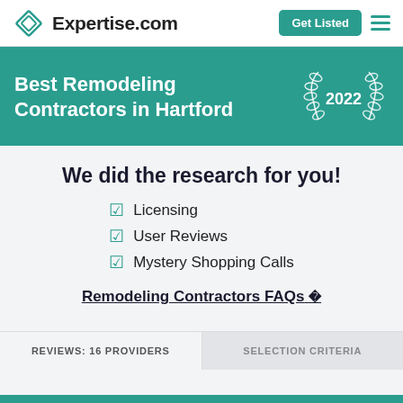Expertise.com
Best Remodeling Contractors in Hartford 2022
We did the research for you!
Licensing
User Reviews
Mystery Shopping Calls
Remodeling Contractors FAQs
REVIEWS: 16 PROVIDERS
SELECTION CRITERIA
FEATURED